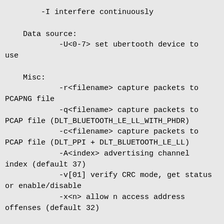-I interfere continuously

    Data source:
            -U<0-7> set ubertooth device to use

    Misc:
            -r<filename> capture packets to PCAPNG file
            -q<filename> capture packets to PCAP file (DLT_BLUETOOTH_LE_LL_WITH_PHDR)
            -c<filename> capture packets to PCAP file (DLT_PPI + DLT_BLUETOOTH_LE_LL)
            -A<index> advertising channel index (default 37)
            -v[01] verify CRC mode, get status or enable/disable
            -x<n> allow n access address offenses (default 32)